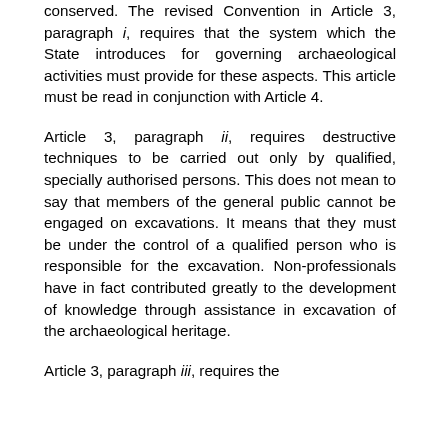conserved. The revised Convention in Article 3, paragraph i, requires that the system which the State introduces for governing archaeological activities must provide for these aspects. This article must be read in conjunction with Article 4.
Article 3, paragraph ii, requires destructive techniques to be carried out only by qualified, specially authorised persons. This does not mean to say that members of the general public cannot be engaged on excavations. It means that they must be under the control of a qualified person who is responsible for the excavation. Non-professionals have in fact contributed greatly to the development of knowledge through assistance in excavation of the archaeological heritage.
Article 3, paragraph iii, ...